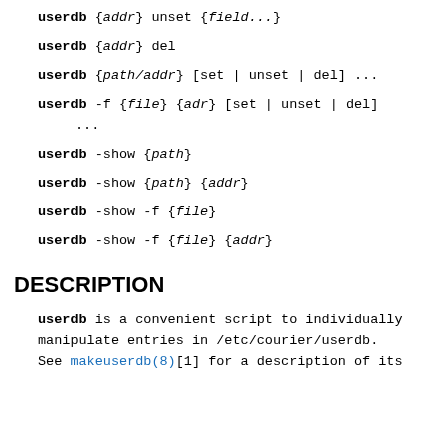userdb {addr} unset {field...}
userdb {addr} del
userdb {path/addr} [set | unset | del] ...
userdb -f {file} {adr} [set | unset | del] ...
userdb -show {path}
userdb -show {path} {addr}
userdb -show -f {file}
userdb -show -f {file} {addr}
DESCRIPTION
userdb is a convenient script to individually manipulate entries in /etc/courier/userdb. See makeuserdb(8)[1] for a description of its